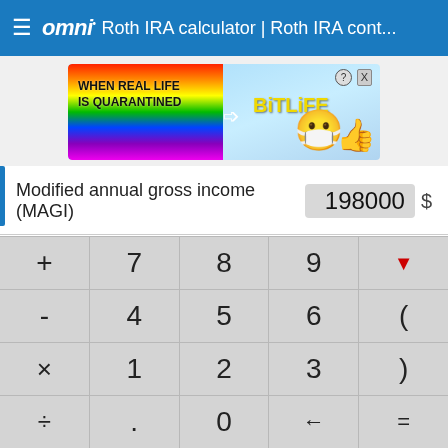≡ omni· Roth IRA calculator | Roth IRA cont...
[Figure (illustration): BitLife advertisement banner with rainbow background, text 'WHEN REAL LIFE IS QUARANTINED' and BitLife logo with emoji face]
Modified annual gross income (MAGI) 198000 $
Current age 32 years
Retir... ...age 6...
Keypad: + 7 8 9 ▼ | - 4 5 6 ( | × 1 2 3 ) | ÷ . 0 ← =